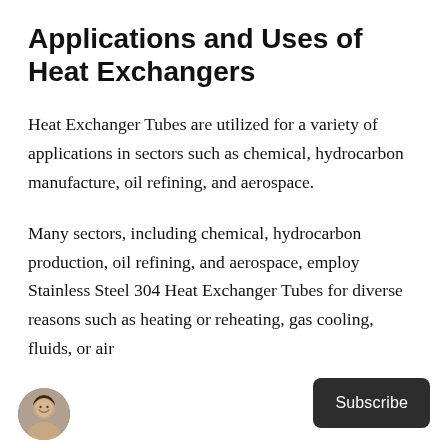Applications and Uses of Heat Exchangers
Heat Exchanger Tubes are utilized for a variety of applications in sectors such as chemical, hydrocarbon manufacture, oil refining, and aerospace.
Many sectors, including chemical, hydrocarbon production, oil refining, and aerospace, employ Stainless Steel 304 Heat Exchanger Tubes for diverse reasons such as heating or reheating, gas cooling, fluids, or air
[Figure (photo): Circular avatar photo of a man smiling, shown at bottom left of the page]
Subscribe